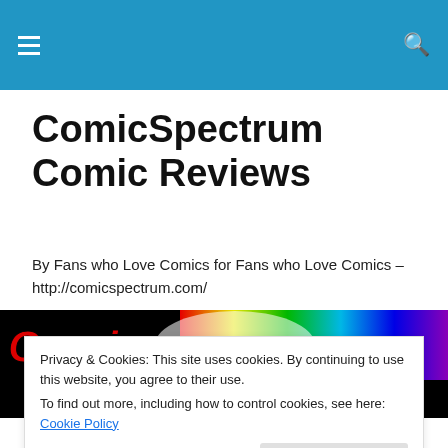ComicSpectrum Comic Reviews — navigation header with hamburger menu and search icon
ComicSpectrum Comic Reviews
By Fans who Love Comics for Fans who Love Comics – http://comicspectrum.com/
[Figure (logo): ComicSpectrum.com logo banner with rainbow spectrum light beam on black background, red italic 'Comic' text and blue italic 'Spectrum.com' text]
Privacy & Cookies: This site uses cookies. By continuing to use this website, you agree to their use.
To find out more, including how to control cookies, see here: Cookie Policy
Close and accept